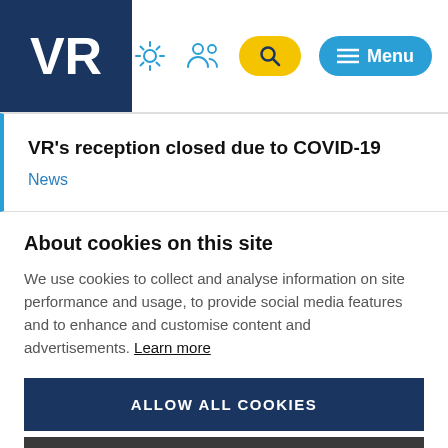VR
VR's reception closed due to COVID-19
News
About cookies on this site
We use cookies to collect and analyse information on site performance and usage, to provide social media features and to enhance and customise content and advertisements. Learn more
ALLOW ALL COOKIES
COOKIE SETTINGS